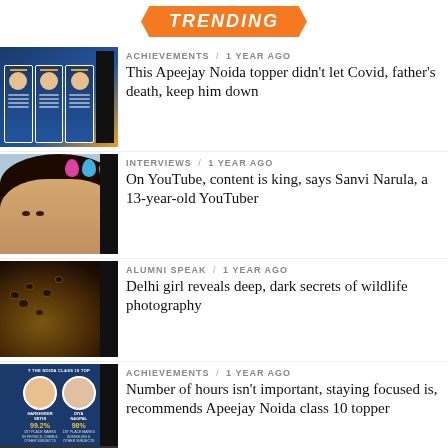TRENDING
[Figure (photo): Thumbnail of ID cards/badges for Apeejay Noida student article]
ACHIEVEMENTS / 1 year ago
This Apeejay Noida topper didn't let Covid, father's death, keep him down
[Figure (photo): Photo of Sanvi Narula, a young girl smiling with balloons in background]
INTERVIEWS / 1 year ago
On YouTube, content is king, says Sanvi Narula, a 13-year-old YouTuber
[Figure (photo): Dark photo of a leopard, representing wildlife photography article]
ALUMNI SPEAK / 1 year ago
Delhi girl reveals deep, dark secrets of wildlife photography
[Figure (photo): Infographic showing Noida class 10 toppers with photos and scores]
ACHIEVEMENTS / 1 year ago
Number of hours isn't important, staying focused is, recommends Apeejay Noida class 10 topper